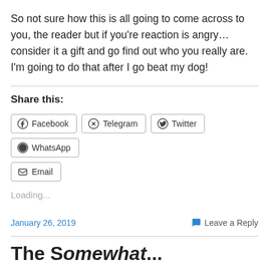So not sure how this is all going to come across to you, the reader but if you're reaction is angry…consider it a gift and go find out who you really are. I'm going to do that after I go beat my dog!
Share this:
Loading...
January 26, 2019   Leave a Reply
The Somewhat...